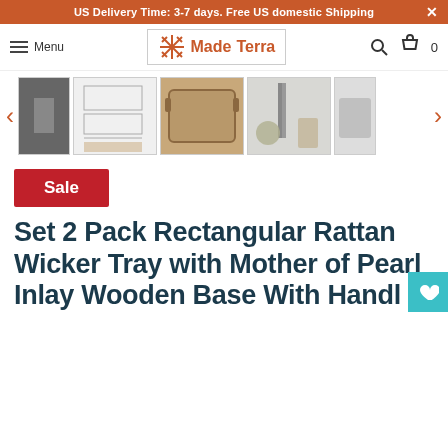US Delivery Time: 3-7 days. Free US domestic Shipping
Menu | MadeTerra | 0
[Figure (screenshot): Product image carousel showing rattan wicker trays with mother of pearl inlay — thumbnail images including dimension diagram, tan rattan tray, and lifestyle photos]
Sale
Set 2 Pack Rectangular Rattan Wicker Tray with Mother of Pearl Inlay Wooden Base With Handl for Home Decor and...